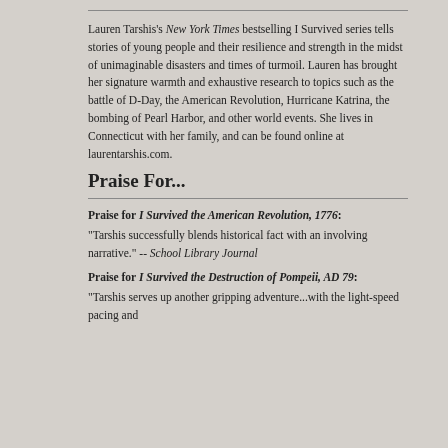Lauren Tarshis's New York Times bestselling I Survived series tells stories of young people and their resilience and strength in the midst of unimaginable disasters and times of turmoil. Lauren has brought her signature warmth and exhaustive research to topics such as the battle of D-Day, the American Revolution, Hurricane Katrina, the bombing of Pearl Harbor, and other world events. She lives in Connecticut with her family, and can be found online at laurentarshis.com.
Praise For...
Praise for I Survived the American Revolution, 1776:
"Tarshis successfully blends historical fact with an involving narrative." -- School Library Journal
Praise for I Survived the Destruction of Pompeii, AD 79:
"Tarshis serves up another gripping adventure...with the light-speed pacing and